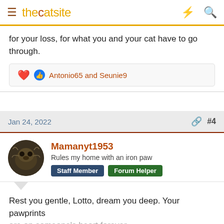thecatsite
for your loss, for what you and your cat have to go through.
Antonio65 and Seunie9
Jan 24, 2022  #4
Mamanyt1953
Rules my home with an iron paw
Staff Member  Forum Helper
Rest you gentle, Lotto, dream you deep. Your pawprints are on someone's heart forever.